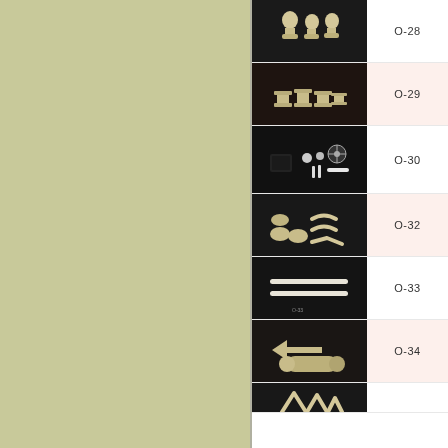[Figure (photo): Left panel with olive/khaki green background color]
[Figure (photo): O-28: Small cream/beige colored figurine parts on dark background]
O-28
[Figure (photo): O-29: Cream/beige cylindrical spool or bobbin parts on dark background]
O-29
[Figure (photo): O-30: Dark background with small metal/plastic bracket and hardware pieces]
O-30
[Figure (photo): O-32: Cream/beige curved and flat small parts on dark background]
O-32
[Figure (photo): O-33: Two white/cream thin rods on dark background with label O-33]
O-33
[Figure (photo): O-34: Cream/beige arrow or wedge shape and cylindrical piece on dark background]
O-34
[Figure (photo): Bottom partial image showing cream/beige angular pieces on dark background]